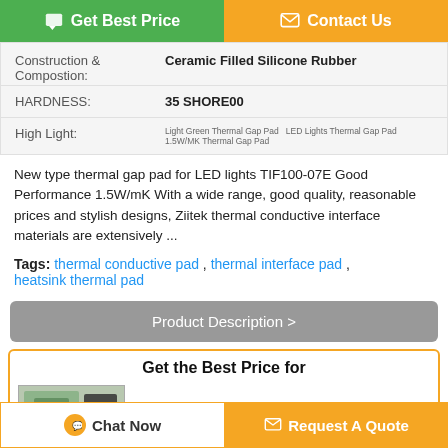Get Best Price
Contact Us
| Field | Value |
| --- | --- |
| Construction & Compostion: | Ceramic Filled Silicone Rubber |
| HARDNESS: | 35 SHORE00 |
| High Light: | Light Green Thermal Gap Pad ,  LED Lights Thermal Gap Pad ,  1.5W/MK Thermal Gap Pad |
New type thermal gap pad for LED lights TIF100-07E Good Performance 1.5W/mK With a wide range, good quality, reasonable prices and stylish designs, Ziitek thermal conductive interface materials are extensively ...
Tags: thermal conductive pad , thermal interface pad , heatsink thermal pad
Product Description >
Get the Best Price for
Light Green Thermal Gap Pad For
Chat Now
Request A Quote